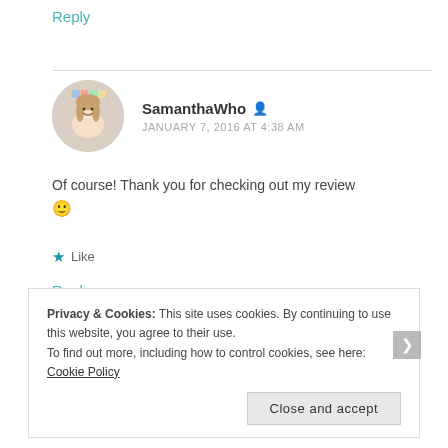Reply
SamanthaWho
JANUARY 7, 2016 AT 4:38 AM
Of course! Thank you for checking out my review 🙂
★ Like
Reply
Privacy & Cookies: This site uses cookies. By continuing to use this website, you agree to their use.
To find out more, including how to control cookies, see here: Cookie Policy
Close and accept